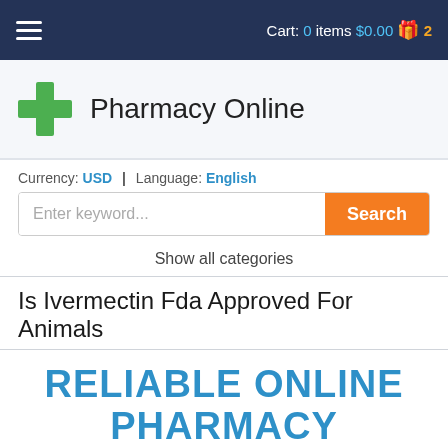Cart: 0 items $0.00  2
[Figure (logo): Green cross logo with text 'Pharmacy Online']
Currency: USD | Language: English
Enter keyword...  Search
Show all categories
Is Ivermectin Fda Approved For Animals
RELIABLE ONLINE PHARMACY
> Click here to order now